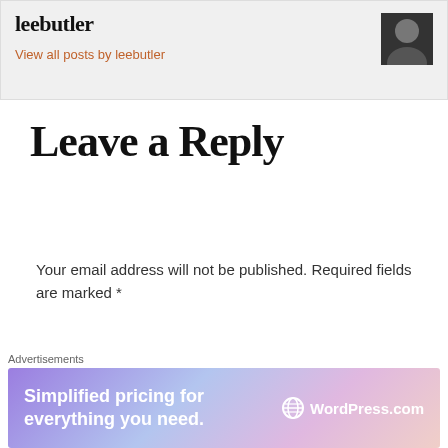leebutler
View all posts by leebutler
Leave a Reply
Your email address will not be published. Required fields are marked *
Comment *
Advertisements
[Figure (infographic): WordPress.com advertisement banner: 'Simplified pricing for everything you need.' with WordPress.com logo on a purple-pink gradient background]